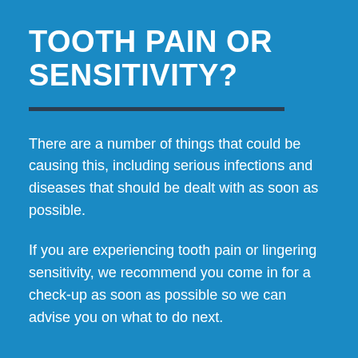TOOTH PAIN OR SENSITIVITY?
There are a number of things that could be causing this, including serious infections and diseases that should be dealt with as soon as possible.
If you are experiencing tooth pain or lingering sensitivity, we recommend you come in for a check-up as soon as possible so we can advise you on what to do next.